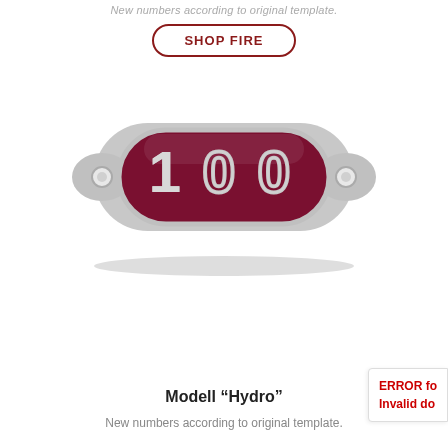New numbers according to original template.
SHOP FIRE
[Figure (photo): A dark red / burgundy metal hydrant number plate badge shaped like an elongated oval with two mounting holes on each end. The plate shows the number '100' in large raised silver digits on a dark red background, with a silver border. The badge has a slightly 3D embossed appearance with a shadow beneath it.]
Modell “Hydro”
New numbers according to original template.
ERROR fo… Invalid do…